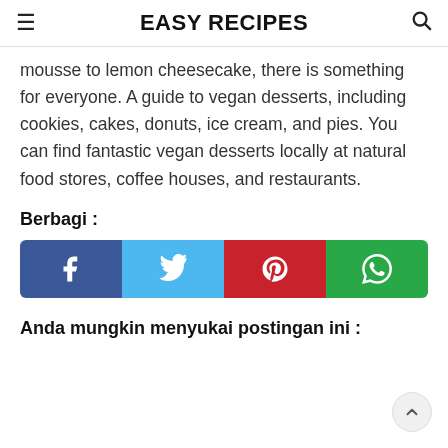EASY RECIPES
mousse to lemon cheesecake, there is something for everyone. A guide to vegan desserts, including cookies, cakes, donuts, ice cream, and pies. You can find fantastic vegan desserts locally at natural food stores, coffee houses, and restaurants.
Berbagi :
[Figure (infographic): Social share buttons: Facebook (dark blue), Twitter (light blue), Pinterest (red), WhatsApp (green)]
Anda mungkin menyukai postingan ini :